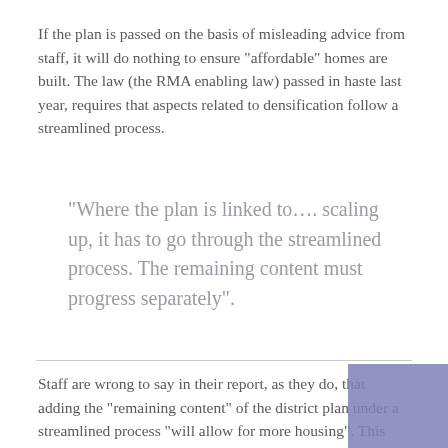If the plan is passed on the basis of misleading advice from staff, it will do nothing to ensure "affordable" homes are built. The law (the RMA enabling law) passed in haste last year, requires that aspects related to densification follow a streamlined process.
“Where the plan is linked to…. scaling up, it has to go through the streamlined process. The remaining content must progress separately”.
Staff are wrong to say in their report, as they do, that adding the "remaining content" of the district plan under a streamlined process "will allow for more housing". This will not be the case. It will deny appeal rights on "remaining content". He will simply deny public access to the Court. He will deny justice.